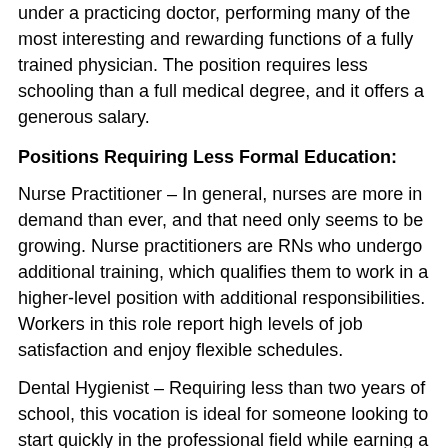under a practicing doctor, performing many of the most interesting and rewarding functions of a fully trained physician. The position requires less schooling than a full medical degree, and it offers a generous salary.
Positions Requiring Less Formal Education:
Nurse Practitioner – In general, nurses are more in demand than ever, and that need only seems to be growing. Nurse practitioners are RNs who undergo additional training, which qualifies them to work in a higher-level position with additional responsibilities. Workers in this role report high levels of job satisfaction and enjoy flexible schedules.
Dental Hygienist – Requiring less than two years of school, this vocation is ideal for someone looking to start quickly in the professional field while earning a high salary out of the gate. Hygienists work educating and examining patients, and they can make over $70,000 per year while working on a part-time basis.